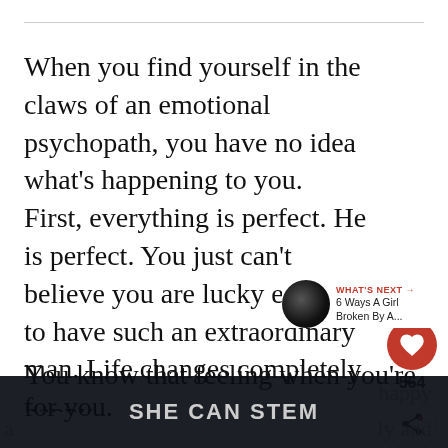When you find yourself in the claws of an emotional psychopath, you have no idea what's happening to you. First, everything is perfect. He is perfect. You just can't believe you are lucky enough to have such an extraordinary man. Life changes completely for you.
[Figure (other): Social sharing sidebar: heart/like button (red circle with heart icon, count 564) and share button]
[Figure (other): What's Next thumbnail: circular dark photo thumbnail with label 'WHAT'S NEXT' in red and title '6 Ways A Girl Broken By A...']
You know that feeling when you're happy a… …ly and
[Figure (other): Dark overlay banner at bottom reading 'SHE CAN STEM' in bold uppercase letters]